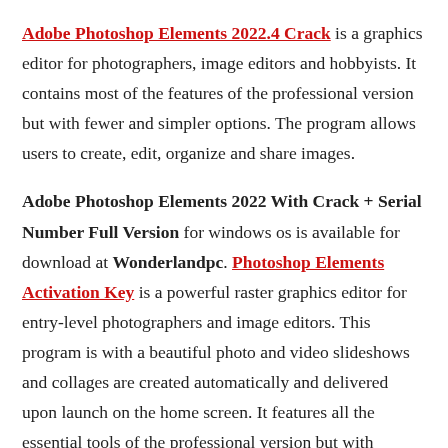Adobe Photoshop Elements 2022.4 Crack is a graphics editor for photographers, image editors and hobbyists. It contains most of the features of the professional version but with fewer and simpler options. The program allows users to create, edit, organize and share images.
Adobe Photoshop Elements 2022 With Crack + Serial Number Full Version for windows os is available for download at Wonderlandpc. Photoshop Elements Activation Key is a powerful raster graphics editor for entry-level photographers and image editors. This program is with a beautiful photo and video slideshows and collages are created automatically and delivered upon launch on the home screen. It features all the essential tools of the professional version but with